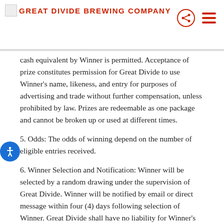GREAT DIVIDE BREWING COMPANY
cash equivalent by Winner is permitted. Acceptance of prize constitutes permission for Great Divide to use Winner's name, likeness, and entry for purposes of advertising and trade without further compensation, unless prohibited by law. Prizes are redeemable as one package and cannot be broken up or used at different times.
5. Odds: The odds of winning depend on the number of eligible entries received.
6. Winner Selection and Notification: Winner will be selected by a random drawing under the supervision of Great Divide. Winner will be notified by email or direct message within four (4) days following selection of Winner. Great Divide shall have no liability for Winner's